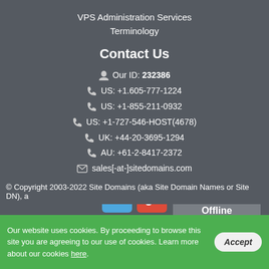VPS Administration Services
Terminology
Contact Us
Our ID: 232386
US: +1.605-777-1224
US: +1-855-211-0932
US: +1-727-546-HOST(4678)
UK: +44-20-3695-1294
AU: +61-2-8417-2372
sales[-at-]sitedomains.com
[Figure (logo): Twitter and Google+ social media icon buttons]
[Figure (infographic): Live Chat Offline speech bubble widget]
© Copyright 2003-2022 Site Domains (aka Site Domain Names or Site DN), a
Our website uses cookies. By proceeding to browse this site you are agreeing to our use of cookies. Learn more about our cookies here.